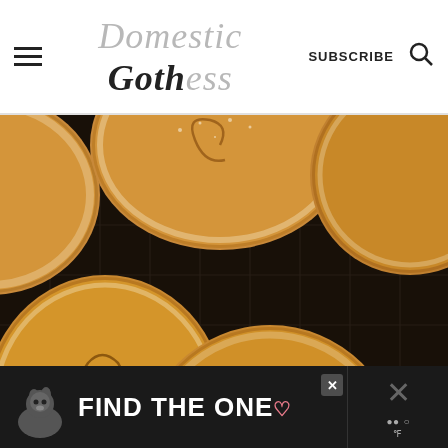Domestic Gothess | SUBSCRIBE
[Figure (photo): Overhead shot of golden-brown mince pies dusted with powdered sugar, arranged on a dark wire cooling rack. The pies have spiral pastry tops and are photographed close-up from above.]
131
WHAT'S NEXT → Vegan Mince Pies
[Figure (photo): Advertisement banner with dark background featuring a dog silhouette and the text FIND THE ONE with a heart and close icon.]